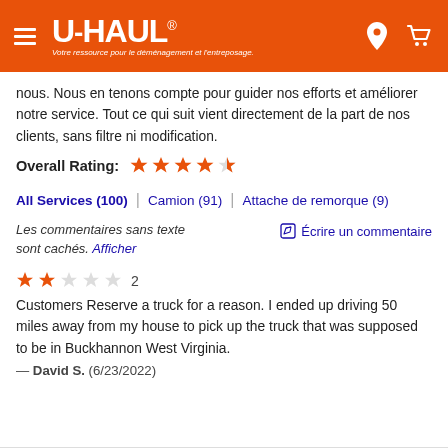U-HAUL — Votre ressource pour le déménagement et l'entreposage.
nous. Nous en tenons compte pour guider nos efforts et améliorer notre service. Tout ce qui suit vient directement de la part de nos clients, sans filtre ni modification.
Overall Rating: ★★★★½
All Services (100) | Camion (91) | Attache de remorque (9)
Les commentaires sans texte sont cachés. Afficher
✏ Écrire un commentaire
★★☆☆☆ 2
Customers Reserve a truck for a reason. I ended up driving 50 miles away from my house to pick up the truck that was supposed to be in Buckhannon West Virginia.
— David S. (6/23/2022)